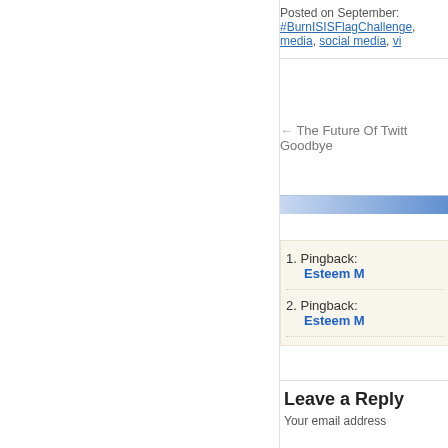Posted on September: #BurnISISFlagChallenge, media, social media, vi
← The Future Of Twitter Goodbye
1. Pingback: Esteem M
2. Pingback: Esteem M
Leave a Reply
Your email address